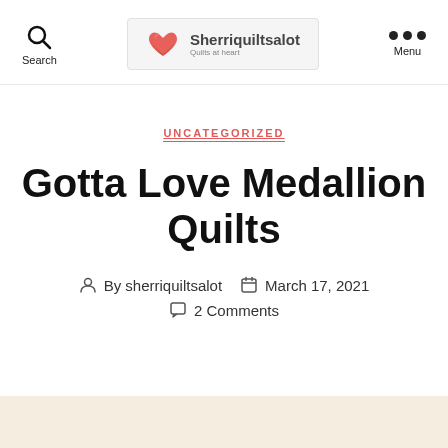Search | Sherriquiltsalot Quilts at heart | Menu
UNCATEGORIZED
Gotta Love Medallion Quilts
By sherriquiltsalot   March 17, 2021   2 Comments